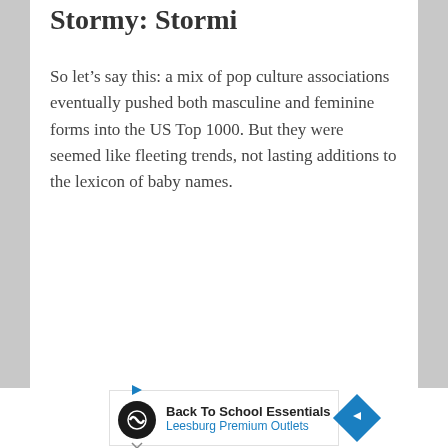Stormy: Stormi
So let’s say this: a mix of pop culture associations eventually pushed both masculine and feminine forms into the US Top 1000. But they were seemed like fleeting trends, not lasting additions to the lexicon of baby names.
[Figure (other): Advertisement banner: Back To School Essentials, Leesburg Premium Outlets]